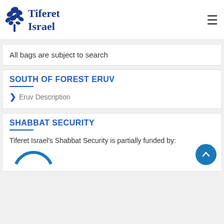[Figure (logo): Tiferet Israel logo with stylized tree/plant icon and text 'Tiferet Israel' in blue serif font]
All bags are subject to search
SOUTH OF FOREST ERUV
Eruv Description
SHABBAT SECURITY
Tiferet Israel's Shabbat Security is partially funded by: